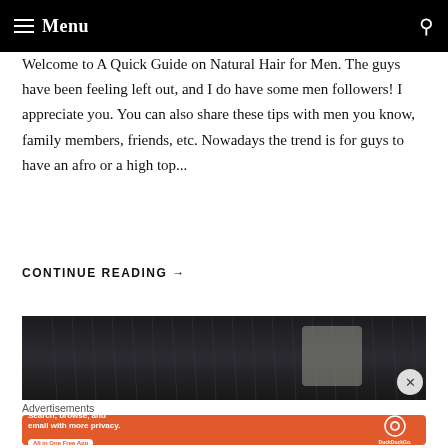Menu
Welcome to A Quick Guide on Natural Hair for Men. The guys have been feeling left out, and I do have some men followers! I appreciate you. You can also share these tips with men you know, family members, friends, etc. Nowadays the trend is for guys to have an afro or a high top...
CONTINUE READING →
[Figure (photo): Close-up photo of straight dark hair with a light-colored object partially visible]
Advertisements
[Figure (infographic): DuckDuckGo advertisement banner with orange background. Text reads: Search, browse, and email with more privacy. All in One Free App. DuckDuckGo logo visible on right side.]